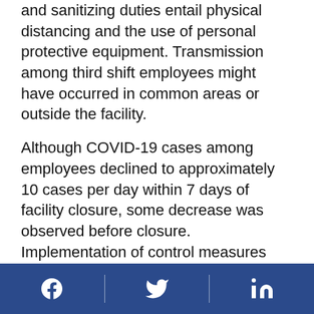and sanitizing duties entail physical distancing and the use of personal protective equipment. Transmission among third shift employees might have occurred in common areas or outside the facility.
Although COVID-19 cases among employees declined to approximately 10 cases per day within 7 days of facility closure, some decrease was observed before closure. Implementation of control measures before closure of facility A might have contributed to this decrease. Employee testing decreased after facility closure, which also might have contributed to the apparent reduction in cases.
The findings in this report are subject to at least five limitations. First, during a period of limited availability of SARS-CoV-2 testing, the enhanced testing strategy
[Facebook] [Twitter] [LinkedIn]